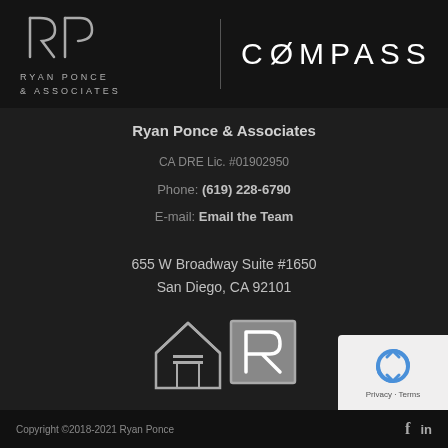[Figure (logo): Ryan Ponce & Associates logo with stylized RP monogram and text, alongside Compass realty logo]
Ryan Ponce & Associates
CA DRE Lic. #01902950
Phone: (619) 228-6790
E-mail: Email the Team
655 W Broadway Suite #1650
San Diego, CA 92101
[Figure (logo): Equal Housing Opportunity logo and Realtor logo]
Copyright ©2018-2021 Ryan Ponce